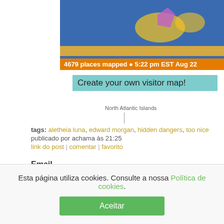[Figure (screenshot): Map widget showing world map with colored countries, orange bar at bottom reading '4679 places mapped @ 5:22 pm EST Aug 22', and 'loco' text at top]
Create your own visitor map!
North Atlantic Islands
tags: aletheia luna, edward morgan, hidden dangers, too nice
publicado por achama às 21:25
link do post | comentar | favorito
Email
[Figure (illustration): Paper airplane icon with dashed line trail, Twitter bird icon and Facebook icon]
SEXTA-FEIRA, 07 / 06 / 19
25 Signs You Have a Wounded Inner Child ~ Aletheia Luna
Esta página utiliza cookies. Consulte a nossa Política de cookies.
Aceitar
By Aletheia Luna